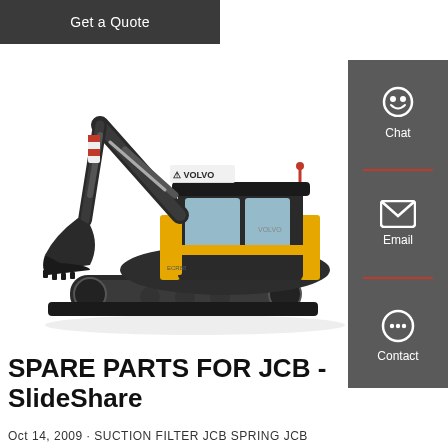[Figure (other): Dark grey button with text 'Get a Quote']
[Figure (photo): Volvo compact excavator (mini excavator) with yellow and black color scheme, on white background, facing right with bucket extended downward.]
[Figure (infographic): Right sidebar with three icons: Chat (headset icon), Email (envelope icon), Contact (speech bubble with dots). Separated by red dividers.]
SPARE PARTS FOR JCB - SlideShare
Oct 14, 2009 · SUCTION FILTER JCB SPRING JCB